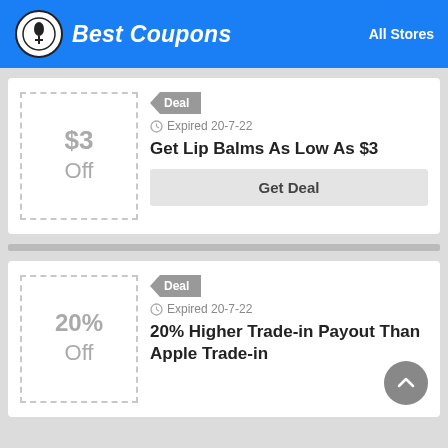Best Coupons — All Stores
Deal — Expired 20-7-22
$3 Off
Get Lip Balms As Low As $3
Get Deal
Deal — Expired 20-7-22
20% Off
20% Higher Trade-in Payout Than Apple Trade-in